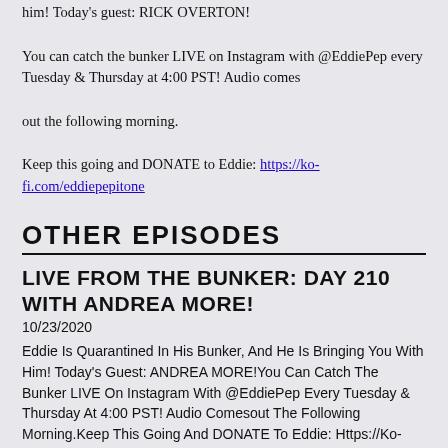him! Today's guest: RICK OVERTON!

You can catch the bunker LIVE on Instagram with @EddiePep every Tuesday & Thursday at 4:00 PST! Audio comes out the following morning.

Keep this going and DONATE to Eddie: https://ko-fi.com/eddiepepitone
OTHER EPISODES
LIVE FROM THE BUNKER: DAY 210 WITH ANDREA MORE!
10/23/2020
Eddie Is Quarantined In His Bunker, And He Is Bringing You With Him! Today's Guest: ANDREA MORE!You Can Catch The Bunker LIVE On Instagram With @EddiePep Every Tuesday & Thursday At 4:00 PST! Audio Comesout The Following Morning.Keep This Going And DONATE To Eddie: Https://Ko-Fi.Com/Eddiepepitone